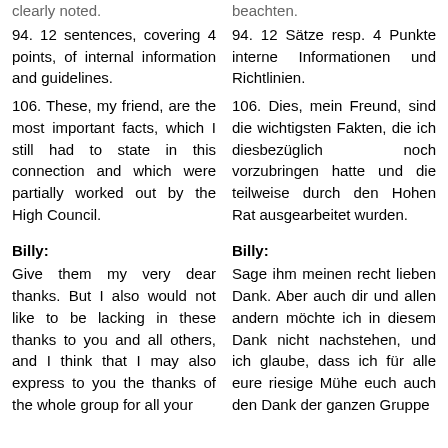clearly noted.
beachten.
94. 12 sentences, covering 4 points, of internal information and guidelines.
94. 12 Sätze resp. 4 Punkte interne Informationen und Richtlinien.
106. These, my friend, are the most important facts, which I still had to state in this connection and which were partially worked out by the High Council.
106. Dies, mein Freund, sind die wichtigsten Fakten, die ich diesbezüglich noch vorzubringen hatte und die teilweise durch den Hohen Rat ausgearbeitet wurden.
Billy:
Billy:
Give them my very dear thanks. But I also would not like to be lacking in these thanks to you and all others, and I think that I may also express to you the thanks of the whole group for all your
Sage ihm meinen recht lieben Dank. Aber auch dir und allen andern möchte ich in diesem Dank nicht nachstehen, und ich glaube, dass ich für alle eure riesige Mühe euch auch den Dank der ganzen Gruppe